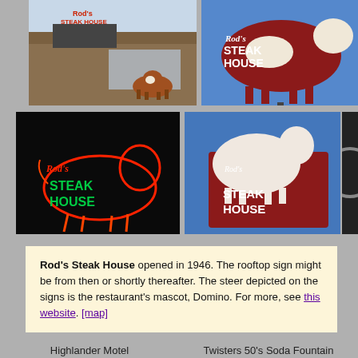[Figure (photo): Rod's Steak House exterior building with cow statue in front, daytime]
[Figure (photo): Rod's Steak House rooftop sign — red and white cow with 'Rod's Steak House' text on blue sky background]
[Figure (photo): Rod's Steak House neon sign at night — glowing red cow outline with green 'Rod's Steak House' text]
[Figure (photo): Rod's Steak House sign close-up — white cow on red sign reading 'Rod's Steak House' on blue sky]
[Figure (photo): Partial view of another sign (cropped)]
Rod's Steak House opened in 1946. The rooftop sign might be from then or shortly thereafter. The steer depicted on the signs is the restaurant's mascot, Domino. For more, see this website. [map]
Highlander Motel
Twisters 50's Soda Fountain